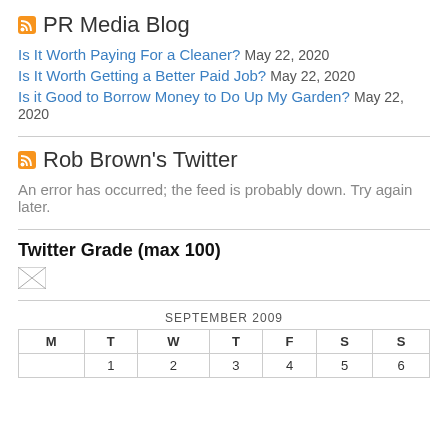PR Media Blog
Is It Worth Paying For a Cleaner? May 22, 2020
Is It Worth Getting a Better Paid Job? May 22, 2020
Is it Good to Borrow Money to Do Up My Garden? May 22, 2020
Rob Brown's Twitter
An error has occurred; the feed is probably down. Try again later.
Twitter Grade (max 100)
[Figure (other): Broken image placeholder]
| M | T | W | T | F | S | S |
| --- | --- | --- | --- | --- | --- | --- |
|  | 1 | 2 | 3 | 4 | 5 | 6 |